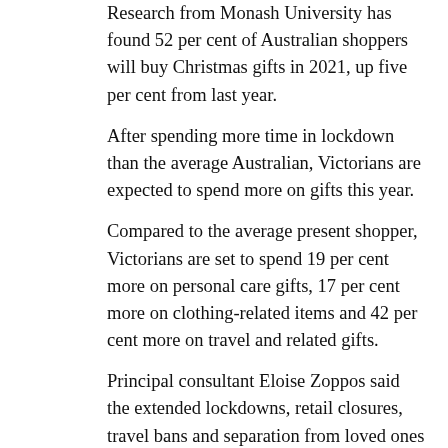Research from Monash University has found 52 per cent of Australian shoppers will buy Christmas gifts in 2021, up five per cent from last year.
After spending more time in lockdown than the average Australian, Victorians are expected to spend more on gifts this year.
Compared to the average present shopper, Victorians are set to spend 19 per cent more on personal care gifts, 17 per cent more on clothing-related items and 42 per cent more on travel and related gifts.
Principal consultant Eloise Zoppos said the extended lockdowns, retail closures, travel bans and separation from loved ones have impacted how Australians choose to celebrate Christmas in 2021.
Concerns about delivery delays and stock levels meant some embraced early Christmas buying with 18 per cent of shoppers starting sooner than